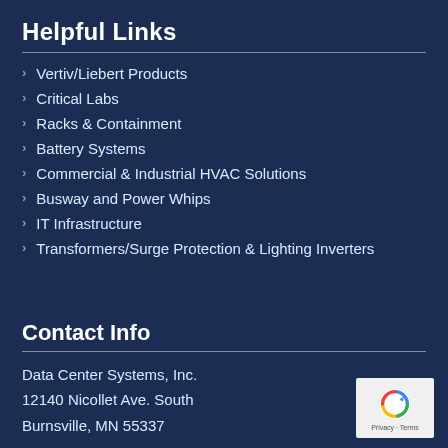Helpful Links
Vertiv/Liebert Products
Critical Labs
Racks & Containment
Battery Systems
Commercial & Industrial HVAC Solutions
Busway and Power Whips
IT Infrastructure
Transformers/Surge Protection & Lighting Inverters
Contact Info
Data Center Systems, Inc.
12140 Nicollet Ave. South
Burnsville, MN 55337